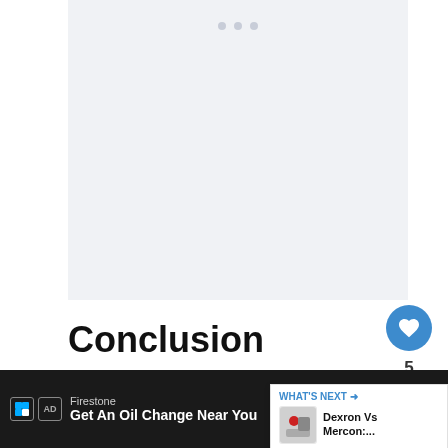[Figure (other): Light gray placeholder content area with three small gray dots at the top center, representing a media or image block]
Conclusion
Therefore, now that you know how the Detroit truetrac vs Detroit Locker auto aftermarket performance differentials work, how
[Figure (infographic): WHAT'S NEXT callout box showing 'Dexron Vs Mercon:...' with a product image thumbnail]
Firestone Get An Oil Change Near You   LEARN MORE